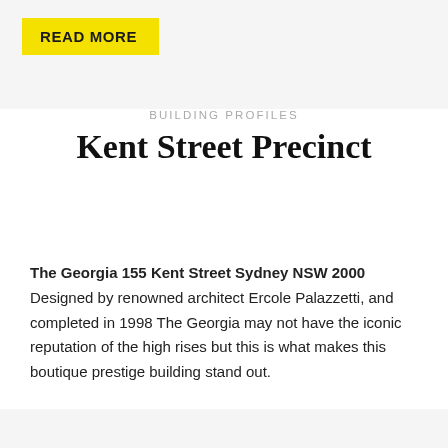READ MORE
BUILDING PROFILES
Kent Street Precinct
The Georgia 155 Kent Street Sydney NSW 2000
Designed by renowned architect Ercole Palazzetti, and completed in 1998 The Georgia may not have the iconic reputation of the high rises but this is what makes this boutique prestige building stand out.